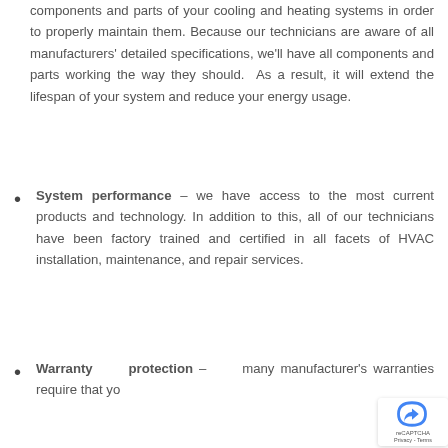components and parts of your cooling and heating systems in order to properly maintain them. Because our technicians are aware of all manufacturers' detailed specifications, we'll have all components and parts working the way they should. As a result, it will extend the lifespan of your system and reduce your energy usage.
System performance – we have access to the most current products and technology. In addition to this, all of our technicians have been factory trained and certified in all facets of HVAC installation, maintenance, and repair services.
Warranty protection – many manufacturer's warranties require that you...